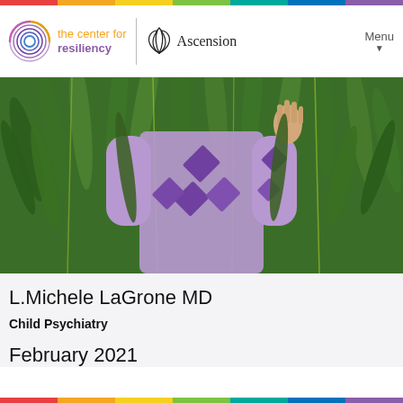[Figure (logo): The Center for Resiliency logo with spiral circle in purple/blue and orange-purple text, next to Ascension triquetra logo and Ascension text, with Menu button]
[Figure (photo): Person wearing purple patterned dress standing among hanging willow tree branches, hand visible reaching up into greenery]
L.Michele LaGrone MD
Child Psychiatry
February 2021